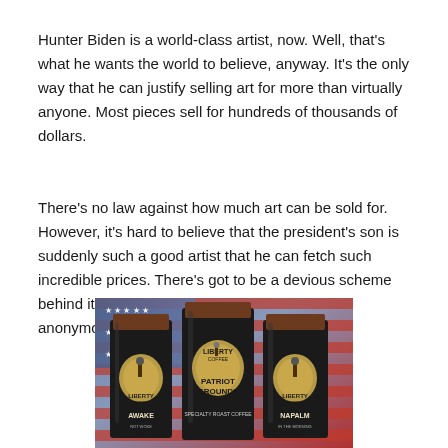Hunter Biden is a world-class artist, now. Well, that's what he wants the world to believe, anyway. It's the only way that he can justify selling art for more than virtually anyone. Most pieces sell for hundreds of thousands of dollars.
There's no law against how much art can be sold for. However, it's hard to believe that the president's son is suddenly such a good artist that he can fetch such incredible prices. There's got to be a devious scheme behind it, especially when the art is being sold anonymously.
[Figure (photo): Three black coffee bags from Liberty Coffee brand displayed in front of an American flag. The bags are labeled 'Awake', 'Patriot Grounds', and 'Napalm' from left to right, each featuring the Statue of Liberty logo.]